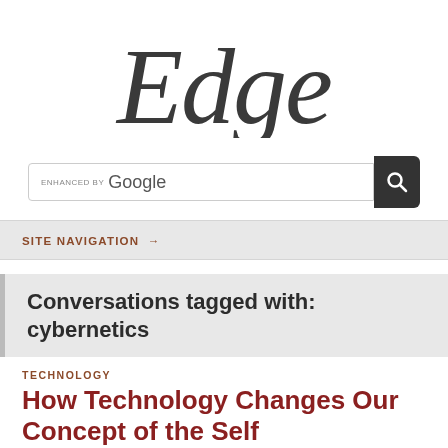[Figure (logo): Edge logo in large italic serif font, dark gray]
[Figure (screenshot): Google enhanced search bar with dark search button]
SITE NAVIGATION →
Conversations tagged with: cybernetics
TECHNOLOGY
How Technology Changes Our Concept of the Self
A Conversation with Peter Galison [11.20.18]